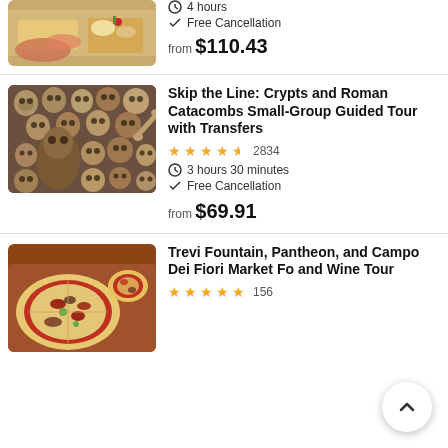[Figure (photo): Partial view of charcuterie/sushi plate on wooden board]
4 hours
Free Cancellation
from $110.43
[Figure (photo): Human skulls and bones in catacombs with a mummified figure]
Skip the Line: Crypts and Roman Catacombs Small-Group Guided Tour with Transfers
★★★★½ 2834
3 hours 30 minutes
Free Cancellation
from $69.91
[Figure (photo): Pizza slices on wooden board with various toppings]
Trevi Fountain, Pantheon, and Campo Dei Fiori Market Fo and Wine Tour
★★★★★ 156